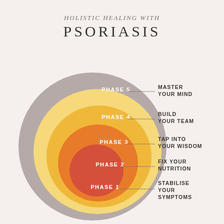HOLISTIC HEALING WITH PSORIASIS
[Figure (infographic): Concentric circles diagram showing 5 phases of holistic healing for psoriasis. Phase 5 (outermost, grey) = Master Your Mind; Phase 4 (pale yellow) = Build Your Team; Phase 3 (yellow) = Tap Into Your Wisdom; Phase 2 (orange) = Fix Your Nutrition; Phase 1 (innermost, red-orange) = Stabilise Your Symptoms. Each phase is labeled inside its ring and connected by a line to a label on the right.]